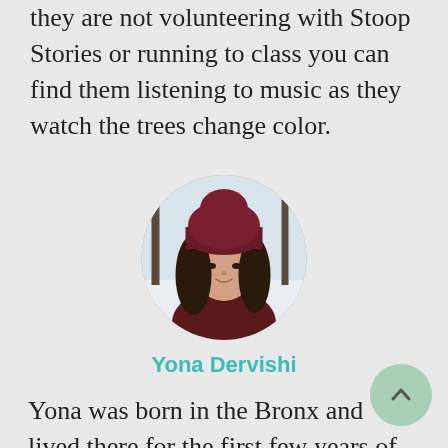they are not volunteering with Stoop Stories or running to class you can find them listening to music as they watch the trees change color.
[Figure (photo): Circular portrait photo of Yona Dervishi wearing a dark maroon beanie hat and jacket, with a snowy background]
Yona Dervishi
Yona was born in the Bronx and lived there for the first few years of her life before moving to Stamford, CT. recently graduated from Emerson College with a BFA in Creative Writing